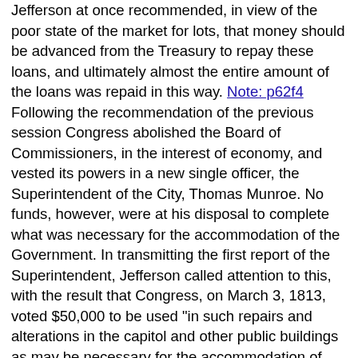Jefferson at once recommended, in view of the poor state of the market for lots, that money should be advanced from the Treasury to repay these loans, and ultimately almost the entire amount of the loans was repaid in this way. Note: p62f4 Following the recommendation of the previous session Congress abolished the Board of Commissioners, in the interest of economy, and vested its powers in a new single officer, the Superintendent of the City, Thomas Munroe. No funds, however, were at his disposal to complete what was necessary for the accommodation of the Government. In transmitting the first report of the Superintendent, Jefferson called attention to this, with the result that Congress, on March 3, 1813, voted $50,000 to be used "in such repairs and alterations in the capitol and other public buildings as may be necessary for the accommodation of congress in their future sessions and also for keeping in repair the highway between the capitol and other public buildings." Jefferson was confident that this, the first federal appropriation for the city and its buildings, would be followed by others which would warrant the use of the funds in a far-sighted way. Note: p63f1
Note: p63m1 He accordingly made bold to spend a third of the whole appropriation for the improvement of Pennsylvania Avenue in a manner worthy of the city. Like Paris boulevards which he admired, it was subdivided by rows of trees into roadays, footways, and reservations, along one of which it was proposed to conduct, at some future day, the water of the Tiber. Note: p63f2